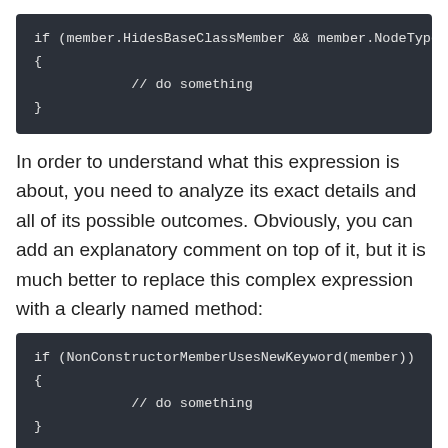[Figure (screenshot): Code block showing: if (member.HidesBaseClassMember && member.NodeType != No
{
            // do something
}]
In order to understand what this expression is about, you need to analyze its exact details and all of its possible outcomes. Obviously, you can add an explanatory comment on top of it, but it is much better to replace this complex expression with a clearly named method:
[Figure (screenshot): Code block showing: if (NonConstructorMemberUsesNewKeyword(member))
{
            // do something
}]